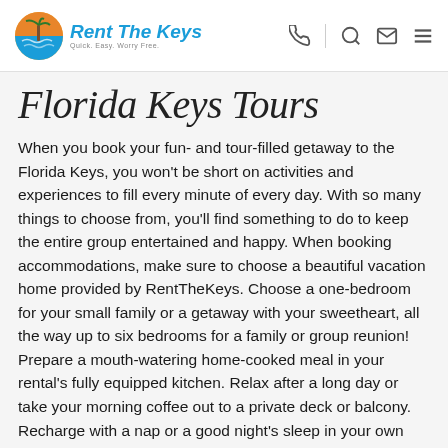Rent The Keys — Quick. Easy. Worry Free.
Florida Keys Tours
When you book your fun- and tour-filled getaway to the Florida Keys, you won't be short on activities and experiences to fill every minute of every day. With so many things to choose from, you'll find something to do to keep the entire group entertained and happy. When booking accommodations, make sure to choose a beautiful vacation home provided by RentTheKeys. Choose a one-bedroom for your small family or a getaway with your sweetheart, all the way up to six bedrooms for a family or group reunion! Prepare a mouth-watering home-cooked meal in your rental's fully equipped kitchen. Relax after a long day or take your morning coffee out to a private deck or balcony. Recharge with a nap or a good night's sleep in your own bedroom or spread out in the spacious living area to read a book or watch a movie. Choose a premium unit for upgrades like stainless steel appliances, double ovens, flat-